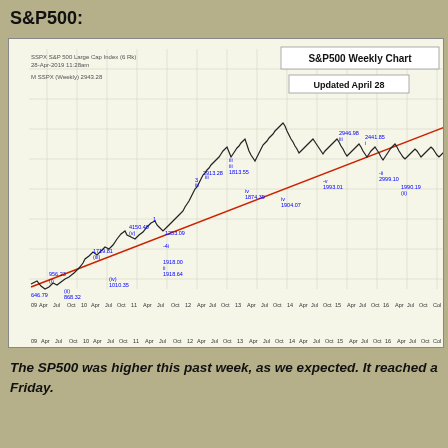S&P500:
[Figure (continuous-plot): S&P500 weekly chart (SSPX) updated April 28, showing price action from approximately 2009 to 2019 with Elliott Wave labels in blue. Price range from ~666 at the low to ~2946 at the high. A red upward-sloping trendline is visible. Key labeled levels include 666.79, 956.23, 868.32, 1719.81, 1010.35, 4150.40, 1253.09, 1918.00, 1918.64, 1813.55, 2913.28, 1874.39, 1904.07, 2946.98, 2441.85, 1993.00, 2999.10, 1802.10, and others annotated with wave numbers.]
The SP500 was higher this past week, as we expected. It reached a Friday.